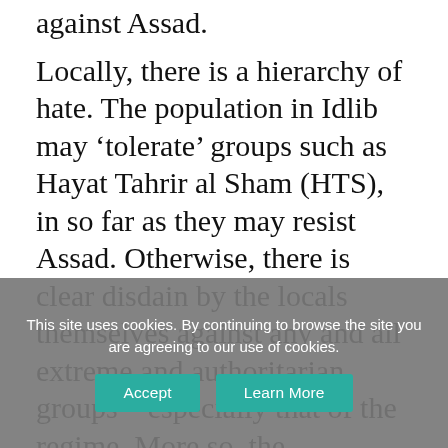against Assad.
Locally, there is a hierarchy of hate. The population in Idlib may ‘tolerate’ groups such as Hayat Tahrir al Sham (HTS), in so far as they may resist Assad. Otherwise, there is clear disdain by the locals themselves against any and all extreme and authoritarian groups – especially that of the regime. More so, the unrelenting, indiscriminate, and vindictive actions of Assad have fostered the anger that has sustained radicalisation and extremism. This is not to explain away the presence of extremists,
This site uses cookies. By continuing to browse the site you are agreeing to our use of cookies.